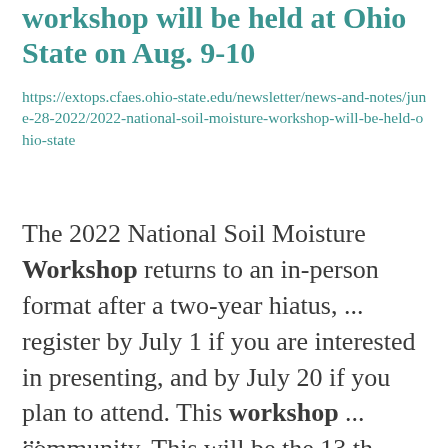workshop will be held at Ohio State on Aug. 9-10
https://extops.cfaes.ohio-state.edu/newsletter/news-and-notes/june-28-2022/2022-national-soil-moisture-workshop-will-be-held-ohio-state
The 2022 National Soil Moisture Workshop returns to an in-person format after a two-year hiatus, ... register by July 1 if you are interested in presenting, and by July 20 if you plan to attend. This workshop ... community. This will be the 13 th consecutive year for the workshop, which was started by the researchers who ...